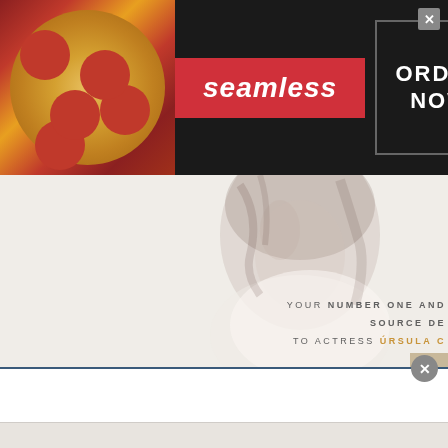[Figure (screenshot): Seamless food delivery advertisement banner with pizza image on left, red Seamless logo in center, and 'ORDER NOW' button in bordered box on right with close X button]
[Figure (photo): Faded/washed out photo of a dark-haired actress with hand near face, wearing white, used as website background]
YOUR NUMBER ONE AND SOURCE DE TO ACTRESS ÚRSULA
[Figure (screenshot): Twitter bird icon button on tan/beige background on right edge]
[Figure (screenshot): White popup panel at bottom with blue top border and gray close X circle button, lower portion has gray background]